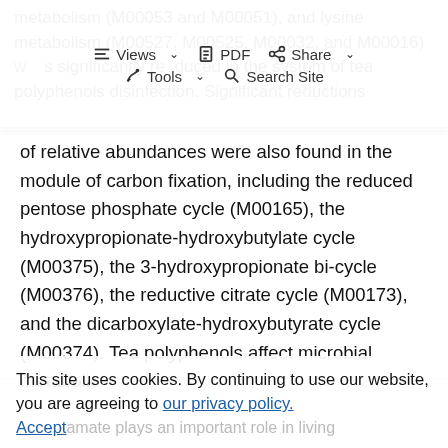metabolism (M00053 and M00051), and lysine metabolism (M00527, M00525, M00032, and M00016) was significantly reduced in the system of tea polyphenols disinfection. Significant reductions
Views | PDF | Share | Tools | Search Site
of relative abundances were also found in the module of carbon fixation, including the reduced pentose phosphate cycle (M00165), the hydroxypropionate-hydroxybutylate cycle (M00375), the 3-hydroxypropionate bi-cycle (M00376), the reductive citrate cycle (M00173), and the dicarboxylate-hydroxybutyrate cycle (M00374). Tea polyphenols affect microbial metabolic
mechanisms in two main ways.
1. Inhibition of the tricarboxylation CA cycle
This site uses cookies. By continuing to use our website, you are agreeing to our privacy policy. Accept
amate plays an important role in living